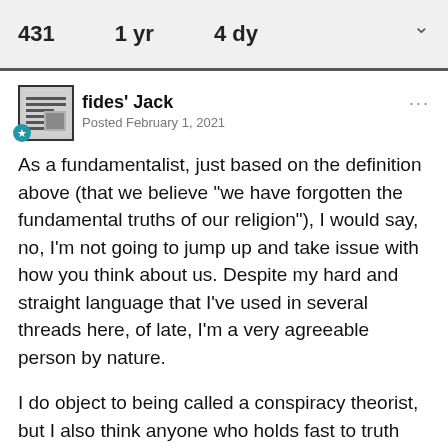431   1 yr   4 dy
fides' Jack
Posted February 1, 2021
As a fundamentalist, just based on the definition above (that we believe "we have forgotten the fundamental truths of our religion"), I would say, no, I'm not going to jump up and take issue with how you think about us.  Despite my hard and straight language that I've used in several threads here, of late, I'm a very agreeable person by nature.
I do object to being called a conspiracy theorist, but I also think anyone who holds fast to truth these days will be called much worse than that.  If